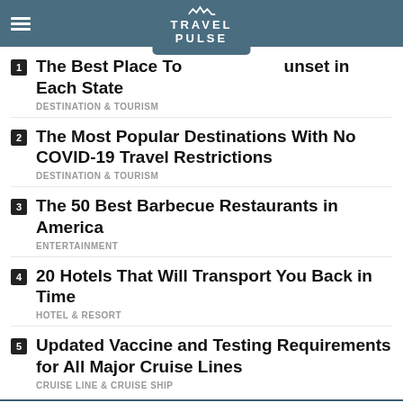TravelPulse
1. The Best Place To [Watch the S]unset in Each State — DESTINATION & TOURISM
2. The Most Popular Destinations With No COVID-19 Travel Restrictions — DESTINATION & TOURISM
3. The 50 Best Barbecue Restaurants in America — ENTERTAINMENT
4. 20 Hotels That Will Transport You Back in Time — HOTEL & RESORT
5. Updated Vaccine and Testing Requirements for All Major Cruise Lines — CRUISE LINE & CRUISE SHIP
RELATED OFFERS
Enjoy 15% off spa services and spectacular ocean views at ... HYATT ZILARA AND HYATT ZIVA